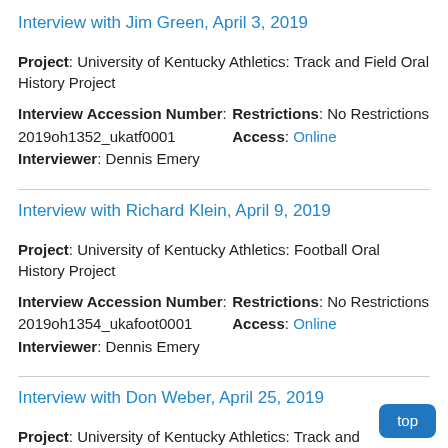Interview with Jim Green, April 3, 2019
Project: University of Kentucky Athletics: Track and Field Oral History Project
Interview Accession Number: 2019oh1352_ukatf0001
Interviewer: Dennis Emery
Restrictions: No Restrictions
Access: Online
Interview with Richard Klein, April 9, 2019
Project: University of Kentucky Athletics: Football Oral History Project
Interview Accession Number: 2019oh1354_ukafoot0001
Interviewer: Dennis Emery
Restrictions: No Restrictions
Access: Online
Interview with Don Weber, April 25, 2019
Project: University of Kentucky Athletics: Track and Field Oral History Project